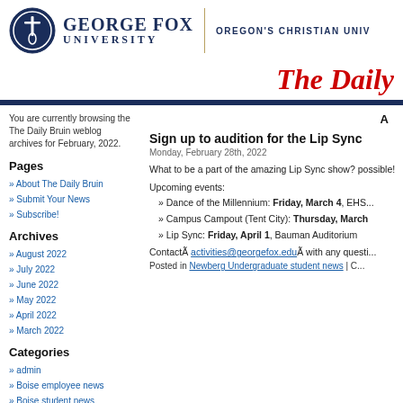[Figure (logo): George Fox University logo: circular navy emblem with cross/flame symbol, next to text 'GEORGE FOX UNIVERSITY' and divider line, then 'OREGON'S CHRISTIAN UNIV...']
The Da[ily Bruin]
You are currently browsing the The Daily Bruin weblog archives for February, 2022.
Pages
About The Daily Bruin
Submit Your News
Subscribe!
Archives
August 2022
July 2022
June 2022
May 2022
April 2022
March 2022
Categories
admin
Boise employee news
Boise student news
E-Colleague
Newberg employee news
A[rchives]
Sign up to audition for the Lip Sync
Monday, February 28th, 2022
What to be a part of the amazing Lip Sync show? possible!
Upcoming events:
Dance of the Millennium: Friday, March 4, EHS...
Campus Campout (Tent City): Thursday, March...
Lip Sync: Friday, April 1, Bauman Auditorium
ContactÃ activities@georgefox.eduÃ with any questi...
Posted in Newberg Undergraduate student news | C...